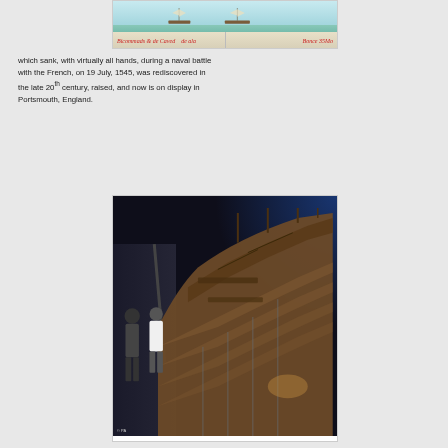[Figure (photo): Partial top view of a historical manuscript illustration showing ships on water with red cursive text labels below, resembling a medieval or early modern naval scene.]
which sank, with virtually all hands, during a naval battle with the French, on 19 July, 1545, was rediscovered in the late 20th century, raised, and now is on display in Portsmouth, England.
[Figure (photo): Interior museum photograph showing the raised wreck of the Mary Rose, a 16th-century English warship, displayed in a dark museum hall in Portsmouth, England. Visitors can be seen on the left observing the wooden hull structure illuminated by blue and warm lighting. A PA photo credit appears in the bottom-left corner.]